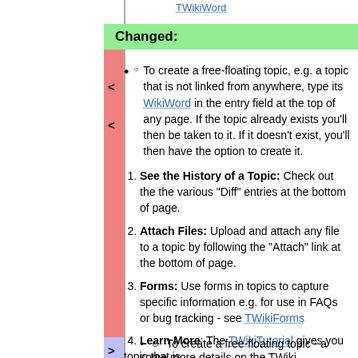TWikiWord
Changed:
To create a free-floating topic, e.g. a topic that is not linked from anywhere, type its WikiWord in the entry field at the top of any page. If the topic already exists you'll then be taken to it. If it doesn't exist, you'll then have the option to create it.
1. See the History of a Topic: Check out the the various "Diff" entries at the bottom of page.
2. Attach Files: Upload and attach any file to a topic by following the "Attach" link at the bottom of page.
3. Forms: Use forms in topics to capture specific information e.g. for use in FAQs or bug tracking - see TWikiForms
4. Learn More: The TWikiTutorial gives you some more details on the TWiki. WikiReferences has links to articles and books around collaboration and the Wiki technology in particular.
To create a free-floating topic - a topic that is